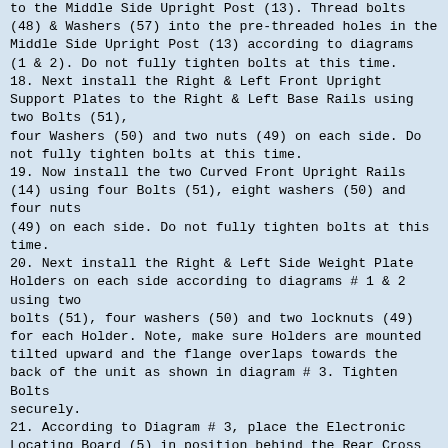to the Middle Side Upright Post (13). Thread bolts (48) & Washers (57) into the pre-threaded holes in the
Middle Side Upright Post (13) according to diagrams (1 & 2). Do not fully tighten bolts at this time.
18. Next install the Right & Left Front Upright Support Plates to the Right & Left Base Rails using two Bolts (51),
four Washers (50) and two nuts (49) on each side. Do not fully tighten bolts at this time.
19. Now install the two Curved Front Upright Rails (14) using four Bolts (51), eight washers (50) and four nuts
(49) on each side. Do not fully tighten bolts at this time.
20. Next install the Right & Left Side Weight Plate Holders on each side according to diagrams # 1 & 2 using two
bolts (51), four washers (50) and two locknuts (49) for each Holder. Note, make sure Holders are mounted tilted upward and the flange overlaps towards the back of the unit as shown in diagram # 3. Tighten Bolts
securely.
21. According to Diagram # 3, place the Electronic Locating Board (5) in position behind the Rear Cross Brace
(3). Now place the Electronic Box (83) on the Locating Board (5) so that the lights are facing up and power
plug of the Box receptacle is facing toward the back of the unit. Plug in Cross Brace wire Harness (74) to each of side Electronic Box (83). Now attach